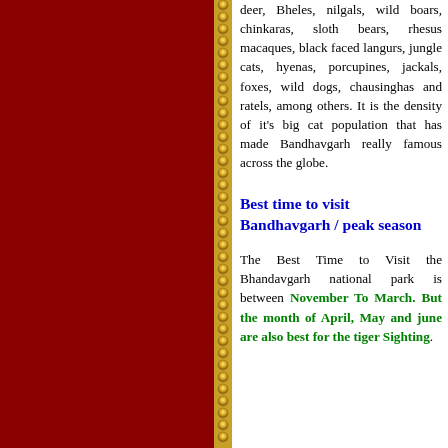deer, Bheles, nilgals, wild boars, chinkaras, sloth bears, rhesus macaques, black faced langurs, jungle cats, hyenas, porcupines, jackals, foxes, wild dogs, chausinghas and ratels, among others. It is the density of it's big cat population that has made Bandhavgarh really famous across the globe.
Best time to visit Bandhavgarh / peak season
The Best Time to Visit the Bhandavgarh national park is between November To March. But the month of April, May and june are also best for the tiger Sighting.